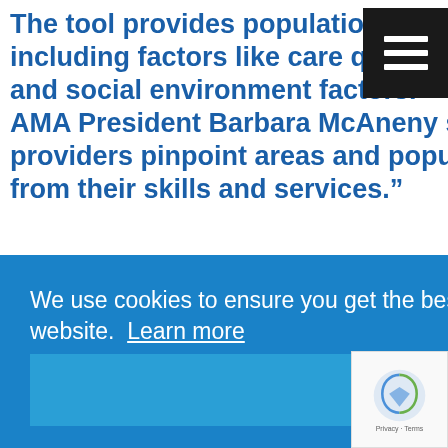The tool provides population health data by geographic location, including factors like care quality, access to care, health behaviors and social environment factors. AMA President Barbara McAneny said the updated tool will let providers pinpoint areas and populations that “could benefit most from their skills and services.”
We use cookies to ensure you get the best experience on our website. Learn more
Got it!